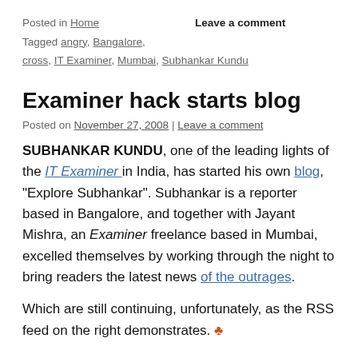Posted in Home   Leave a comment
Tagged angry, Bangalore, cross, IT Examiner, Mumbai, Subhankar Kundu
Examiner hack starts blog
Posted on November 27, 2008 | Leave a comment
SUBHANKAR KUNDU, one of the leading lights of the IT Examiner in India, has started his own blog, "Explore Subhankar". Subhankar is a reporter based in Bangalore, and together with Jayant Mishra, an Examiner freelance based in Mumbai, excelled themselves by working through the night to bring readers the latest news of the outrages.
Which are still continuing, unfortunately, as the RSS feed on the right demonstrates. ♣